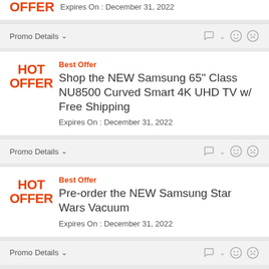OFFER — Expires On : December 31, 2022
Promo Details
Best Offer — Shop the NEW Samsung 65" Class NU8500 Curved Smart 4K UHD TV w/ Free Shipping — Expires On : December 31, 2022
Promo Details
Best Offer — Pre-order the NEW Samsung Star Wars Vacuum — Expires On : December 31, 2022
Promo Details